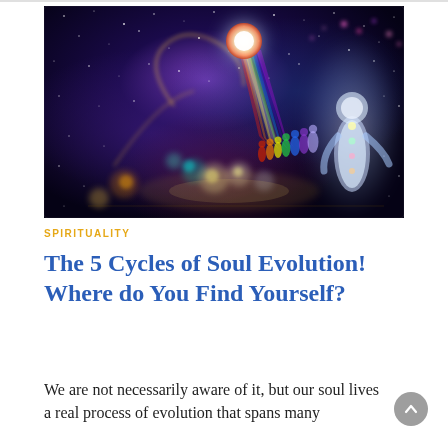[Figure (illustration): Spiritual/cosmic illustration showing silhouettes of human figures in rainbow colors (red, orange, yellow, green, blue, violet, white/glowing) standing on a path of light leading toward a bright glowing orb in a galaxy/cosmic background with stars and colorful nebulae. A large luminous white humanoid figure stands prominently on the right.]
SPIRITUALITY
The 5 Cycles of Soul Evolution! Where do You Find Yourself?
We are not necessarily aware of it, but our soul lives a real process of evolution that spans many